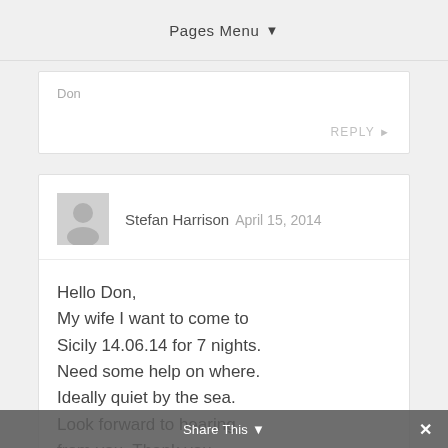Pages Menu ▾
Don
REPLY ▶
Stefan Harrison  April 15, 2014
Hello Don,
My wife I want to come to Sicily 14.06.14 for 7 nights. Need some help on where. Ideally quiet by the sea. Look forward to hearing from you. Thank you.
Stefan
Share This ▾